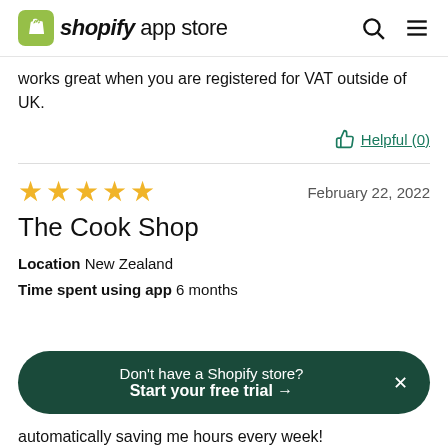shopify app store
works great when you are registered for VAT outside of UK.
Helpful (0)
The Cook Shop
February 22, 2022
Location  New Zealand
Time spent using app  6 months
Don't have a Shopify store? Start your free trial →
automatically saving me hours every week!